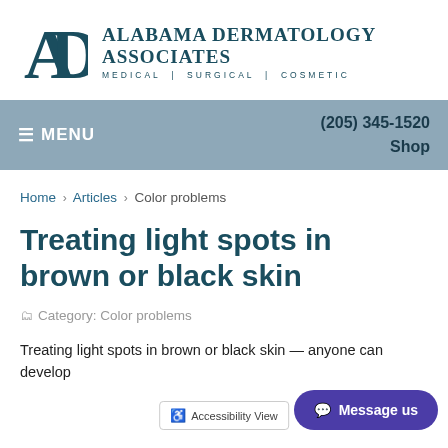[Figure (logo): Alabama Dermatology Associates logo with 'AD' monogram and text 'MEDICAL | SURGICAL | COSMETIC']
≡ MENU   (205) 345-1520   Shop
Home › Articles › Color problems
Treating light spots in brown or black skin
Category: Color problems
Treating light spots in brown or black skin — anyone can develop